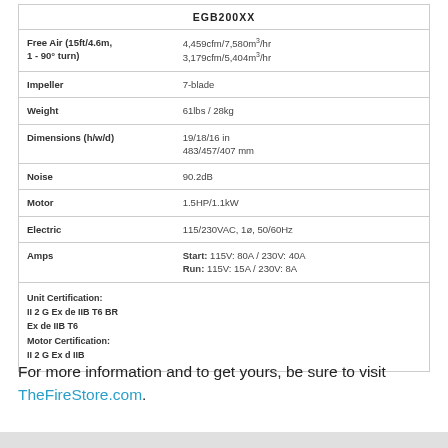|  | EGB200XX |
| --- | --- |
| Free Air (15ft/4.6m, 1 - 90° turn) | 4,459cfm/7,580m³/hr
3,179cfm/5,404m³/hr |
| Impeller | 7-blade |
| Weight | 61lbs / 28kg |
| Dimensions (h/w/d) | 19/18/16 in
483/457/407 mm |
| Noise | 90.2dB |
| Motor | 1.5HP/1.1kW |
| Electric | 115/230VAC, 1ø, 50/60Hz |
| Amps | Start: 115V: 80A / 230V: 40A
Run: 115V: 15A / 230V: 8A |
| Unit Certification:
II 2 G Ex de IIB T6 BR
Ex de IIB T6
Motor Certification:
II 2 G Ex d IIB |  |
For more information and to get yours, be sure to visit TheFireStore.com.